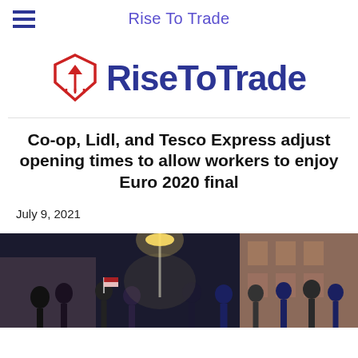Rise To Trade
[Figure (logo): RiseToTrade logo with red shield/arrow icon and dark blue bold text]
Co-op, Lidl, and Tesco Express adjust opening times to allow workers to enjoy Euro 2020 final
July 9, 2021
[Figure (photo): Nighttime outdoor crowd scene with people celebrating, a street lamp illuminated, and a building facade in the background]